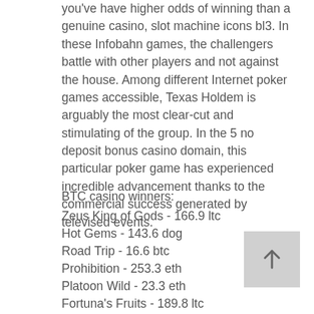you've have higher odds of winning than a genuine casino, slot machine icons bl3. In these Infobahn games, the challengers battle with other players and not against the house. Among different Internet poker games accessible, Texas Holdem is arguably the most clear-cut and stimulating of the group. In the 5 no deposit bonus casino domain, this particular poker game has experienced incredible advancement thanks to the commercial success generated by televised events.
BTC casino winners:
Zeus King of Gods - 166.9 ltc
Hot Gems - 143.6 dog
Road Trip - 16.6 btc
Prohibition - 253.3 eth
Platoon Wild - 23.3 eth
Fortuna's Fruits - 189.8 ltc
Lucky 3 - 653.3 ltc
Eastern Goddesses - 308.4 usdt